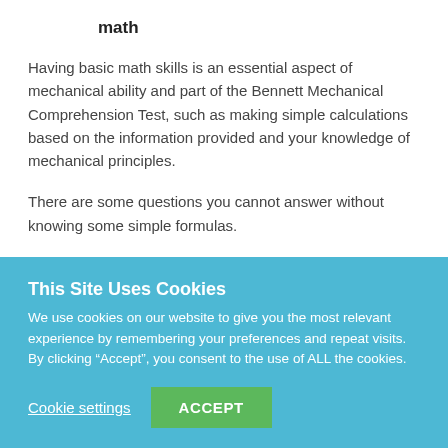math
Having basic math skills is an essential aspect of mechanical ability and part of the Bennett Mechanical Comprehension Test, such as making simple calculations based on the information provided and your knowledge of mechanical principles.
There are some questions you cannot answer without knowing some simple formulas.
This Site Uses Cookies
We use cookies on our website to give you the most relevant experience by remembering your preferences and repeat visits. By clicking “Accept”, you consent to the use of ALL the cookies.
Cookie settings    ACCEPT